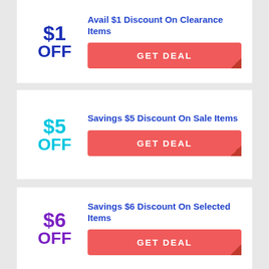$1 OFF
Avail $1 Discount On Clearance Items
GET DEAL
$5 OFF
Savings $5 Discount On Sale Items
GET DEAL
$6 OFF
Savings $6 Discount On Selected Items
GET DEAL